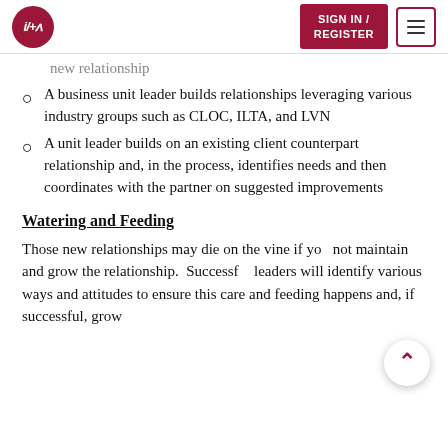i/+a | SIGN IN / REGISTER
new relationship
A business unit leader builds relationships leveraging various industry groups such as CLOC, ILTA, and LVN
A unit leader builds on an existing client counterpart relationship and, in the process, identifies needs and then coordinates with the partner on suggested improvements
Watering and Feeding
Those new relationships may die on the vine if you not maintain and grow the relationship.  Successful leaders will identify various ways and attitudes to ensure this care and feeding happens and, if successful, grow